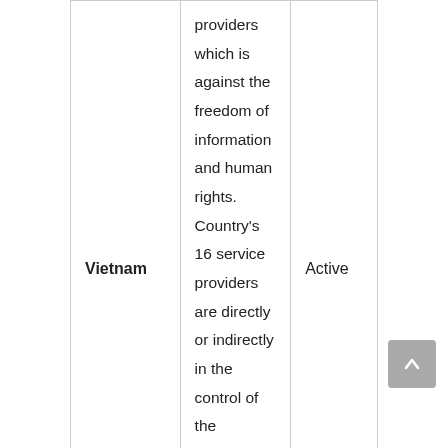| Country | Description | Status |
| --- | --- | --- |
| Vietnam | providers which is against the freedom of information and human rights. Country's 16 service providers are directly or indirectly in the control of the Vietnamese Communist Party. | Active |
Conclusion
Mass surveillance is the monitoring of people and it is